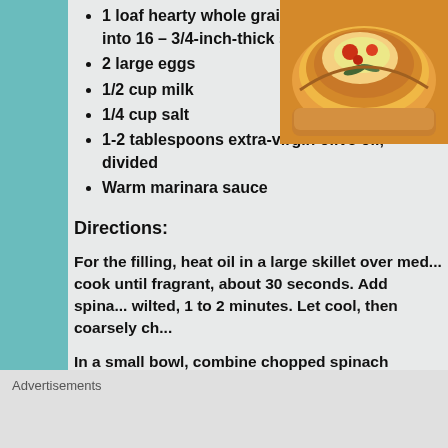1 loaf hearty whole grain Italian bread, cut into 16 – 3/4-inch-thick slices
2 large eggs
1/2 cup milk
1/4 cup salt
1-2 tablespoons extra-virgin olive oil, divided
Warm marinara sauce
[Figure (photo): Close-up photo of toasted bread with melted cheese and toppings, possibly a bruschetta or stuffed toast]
Directions:
For the filling, heat oil in a large skillet over med... cook until fragrant, about 30 seconds. Add spina... wilted, 1 to 2 minutes. Let cool, then coarsely ch...
In a small bowl, combine chopped spinach mixtu...
Advertisements